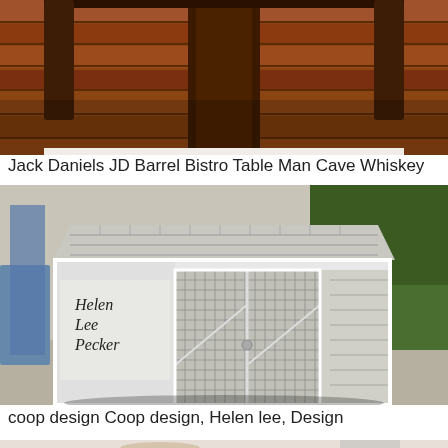[Figure (photo): Partial view of a Jack Daniels whiskey barrel bistro table with dark wooden legs on a hardwood floor]
Jack Daniels JD Barrel Bistro Table Man Cave Whiskey
[Figure (photo): A small white chicken coop with a shingled roof, wire mesh doors, and 'Helen Lee Pecker' written in script on the side panel, set on a concrete patio outdoors]
coop design Coop design, Helen lee, Design
[Figure (photo): Partially visible image at the bottom showing what appears to be a rooster or chicken wall art/mural]